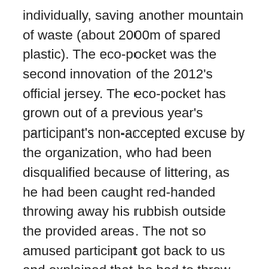individually, saving another mountain of waste (about 2000m of spared plastic). The eco-pocket was the second innovation of the 2012's official jersey. The eco-pocket has grown out of a previous year's participant's non-accepted excuse by the organization, who had been disqualified because of littering, as he had been caught red-handed throwing away his rubbish outside the provided areas. The not so amused participant got back to us and explained that he had to throw away the sticky wrap of his bars because he was afraid he'd mess up his smartphone. This was a decisive impulse for the organization to create a jersey with a fourth pocket – the eco-pocket, for all the rubbish that has to return back home. At the final refreshment there were used plates and cups in polypropylene a special type of plastic which is fully recyclable. To encourage and support the eco-sustainability of the event, the organizing committee of the Maratona promoted a competition with the distribution of tickets o all the cyclists who, at the finishing line, after receiving the bag, one, left the plastic bottles in...